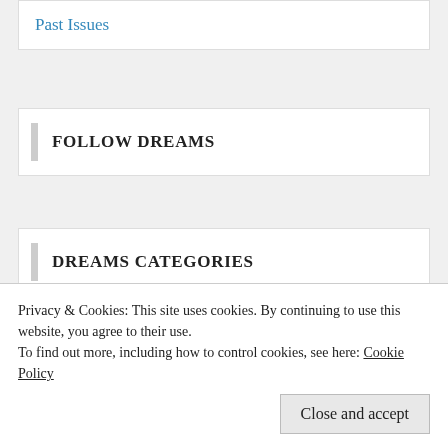Past Issues
FOLLOW DREAMS
DREAMS CATEGORIES
Dream Basics
Dream Psychology
Privacy & Cookies: This site uses cookies. By continuing to use this website, you agree to their use.
To find out more, including how to control cookies, see here: Cookie Policy
Close and accept
Symbols - Actions, Events and Behaviors